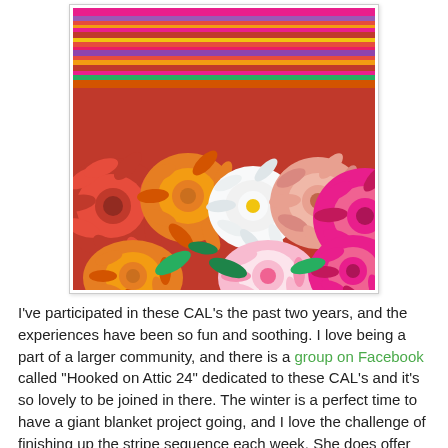[Figure (photo): A photograph of colorful dahlia flowers in red, orange, white, cream, pink, and magenta, arranged densely together. In the background is a colorful striped textile/blanket with horizontal bands of pink, purple, red, yellow, and orange.]
I've participated in these CAL's the past two years, and the experiences have been so fun and soothing. I love being a part of a larger community, and there is a group on Facebook called "Hooked on Attic 24" dedicated to these CAL's and it's so lovely to be joined in there. The winter is a perfect time to have a giant blanket project going, and I love the challenge of finishing up the stripe sequence each week. She does offer options wherein you can pick either the varied color sequence that she favors, or a colorwash version wherein the colors fade into each more, or a